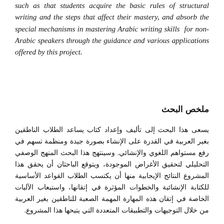such as that students acquire the basic rules of structural writing and the steps that affect their mastery, and absorb the special mechanisms in mastering Arabic writing skills for non-Arabic speakers through the guidance and various applications offered by this project.
ملخص البحث
يسعى هذا البحث إلى تأليف وإعداد كتاب يساعد الطلاب الناطقين بغير العربية في القدرة على الإنشاء بصورة جيدة ومنظمة تسهم في رفع مستواهم اللغوي والإنشائي. وسينتهج هذا البحث المنهج الوصفي التحليلي لتحقيق الأغراض الموجودة، ويتوقع الباحثان أن يحقق هذا المشروع النتائج الإيجابية منها أن يكتسب الطلاب القواعد الأساسية للكتابة الإنشائية والخطوات المؤثرة في إتقانها، واستيعاب الآليات الخاصة في إتقان هذه المهارة المهمة الصعبة للناطقين بغير العربية من خلال التوجيهات والتطبيقات المتعددة التي يتيحها هذا المشروع.